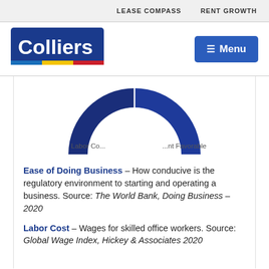LEASE COMPASS    RENT GROWTH
[Figure (logo): Colliers logo — blue rectangle with white Colliers text and multicolor stripe bar (blue, yellow, red) at bottom]
[Figure (donut-chart): Partial donut chart in dark navy/blue. Two segments visible labeled 'Labor Cost' and 'Tenant Favorable'. Top half of donut visible, bottom cropped.]
Ease of Doing Business – How conducive is the regulatory environment to starting and operating a business. Source: The World Bank, Doing Business – 2020
Labor Cost – Wages for skilled office workers. Source: Global Wage Index, Hickey & Associates 2020